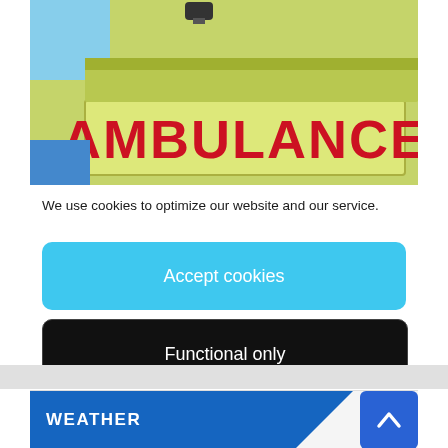[Figure (photo): Ambulance vehicle side panel showing the word AMBULANCE in large red letters on a yellow-green background, with a small blue light on top.]
We use cookies to optimize our website and our service.
Accept cookies
Functional only
View preferences
[Figure (other): WEATHER section header bar in blue with white bold text and a diagonal cut on the right side.]